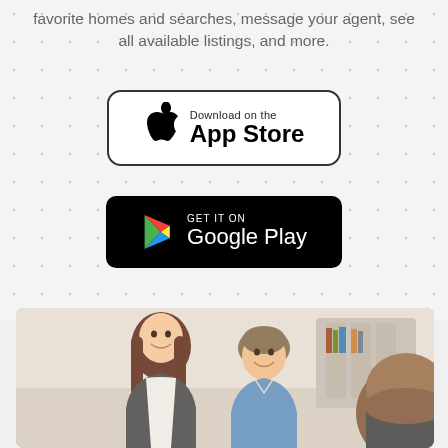favorite homes and searches, message your agent, see all available listings, and more.
[Figure (logo): Download on the App Store button - white background with rounded rectangle border, Apple logo, text 'Download on the App Store']
[Figure (logo): Get it on Google Play button - black background with rounded rectangle, Google Play triangle logo in colors, text 'GET IT ON Google Play']
[Figure (photo): Photo of a smiling couple (woman with long brown hair on left, man in blue shirt on right) sitting together, with a person seen from behind in the foreground, in what appears to be an office or real estate consultation setting]